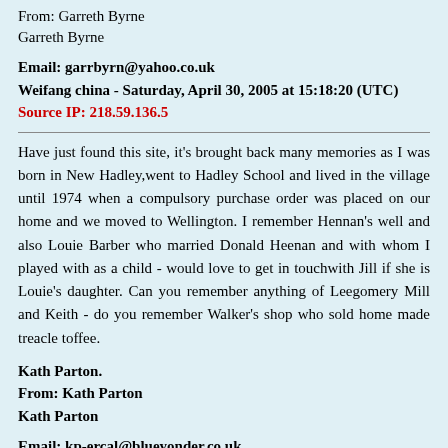From: Garreth Byrne
Garreth Byrne
Email: garrbyrn@yahoo.co.uk
Weifang china - Saturday, April 30, 2005 at 15:18:20 (UTC) Source IP: 218.59.136.5
Have just found this site, it's brought back many memories as I was born in New Hadley,went to Hadley School and lived in the village until 1974 when a compulsory purchase order was placed on our home and we moved to Wellington. I remember Hennan's well and also Louie Barber who married Donald Heenan and with whom I played with as a child - would love to get in touchwith Jill if she is Louie's daughter. Can you remember anything of Leegomery Mill and Keith - do you remember Walker's shop who sold home made treacle toffee.
Kath Parton.
From: Kath Parton
Kath Parton
Email: kp-ercal@blueyonder.co.uk
uk - Saturday, April 16, 2005 at 16:36:54 (UTC)